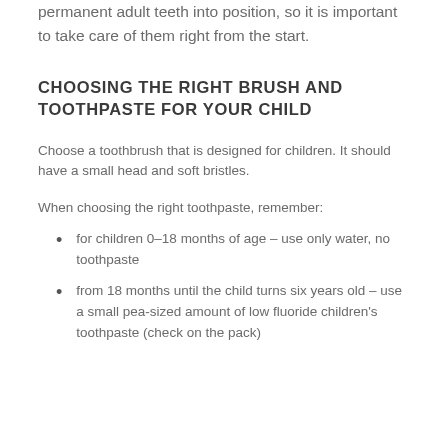permanent adult teeth into position, so it is important to take care of them right from the start.
CHOOSING THE RIGHT BRUSH AND TOOTHPASTE FOR YOUR CHILD
Choose a toothbrush that is designed for children. It should have a small head and soft bristles.
When choosing the right toothpaste, remember:
for children 0–18 months of age – use only water, no toothpaste
from 18 months until the child turns six years old – use a small pea-sized amount of low fluoride children's toothpaste (check on the pack)